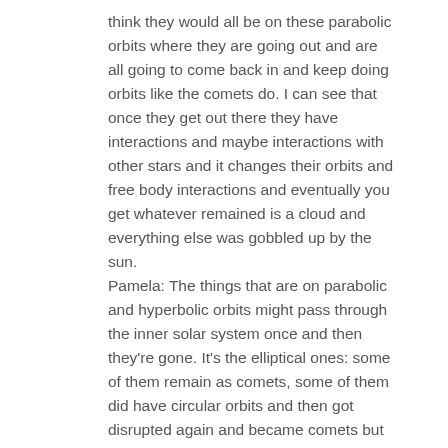think they would all be on these parabolic orbits where they are going out and are all going to come back in and keep doing orbits like the comets do. I can see that once they get out there they have interactions and maybe interactions with other stars and it changes their orbits and free body interactions and eventually you get whatever remained is a cloud and everything else was gobbled up by the sun. Pamela: The things that are on parabolic and hyperbolic orbits might pass through the inner solar system once and then they're gone. It's the elliptical ones: some of them remain as comets, some of them did have circular orbits and then got disrupted again and became comets but most of them the orbits relax over time and then we end up with this nice spherical component. We theorize it seems to match all of the comets that we see coming in; they have to come from somewhere but we don't have certainty.